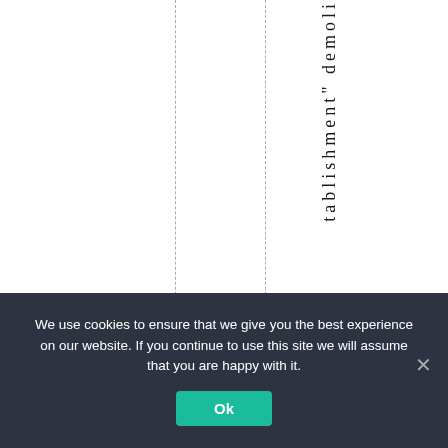tablishment" demoli
We use cookies to ensure that we give you the best experience on our website. If you continue to use this site we will assume that you are happy with it.